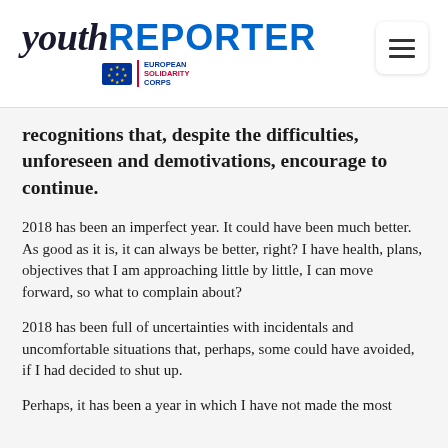youth REPORTER — European Solidarity Corps
recognitions that, despite the difficulties, unforeseen and demotivations, encourage to continue.
2018 has been an imperfect year. It could have been much better. As good as it is, it can always be better, right? I have health, plans, objectives that I am approaching little by little, I can move forward, so what to complain about?
2018 has been full of uncertainties with incidentals and uncomfortable situations that, perhaps, some could have avoided, if I had decided to shut up.
Perhaps, it has been a year in which I have not made the most